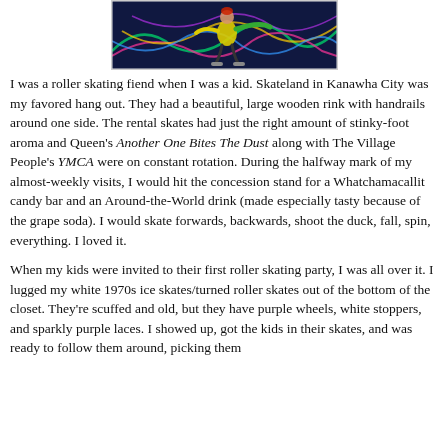[Figure (photo): Partial photo of a roller skater on a dark colorful patterned rink floor, wearing yellow clothing, viewed from above.]
I was a roller skating fiend when I was a kid. Skateland in Kanawha City was my favored hang out. They had a beautiful, large wooden rink with handrails around one side. The rental skates had just the right amount of stinky-foot aroma and Queen's Another One Bites The Dust along with The Village People's YMCA were on constant rotation. During the halfway mark of my almost-weekly visits, I would hit the concession stand for a Whatchamacallit candy bar and an Around-the-World drink (made especially tasty because of the grape soda). I would skate forwards, backwards, shoot the duck, fall, spin, everything. I loved it.
When my kids were invited to their first roller skating party, I was all over it. I lugged my white 1970s ice skates/turned roller skates out of the bottom of the closet. They're scuffed and old, but they have purple wheels, white stoppers, and sparkly purple laces. I showed up, got the kids in their skates, and was ready to follow them around, picking them